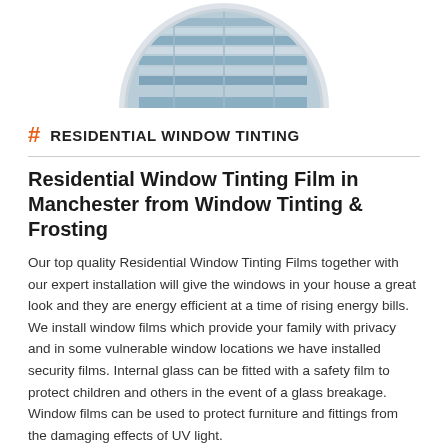[Figure (photo): Circular cropped photo showing a building with glass windows/panels, displayed as a half-circle at the top of the page]
# RESIDENTIAL WINDOW TINTING
Residential Window Tinting Film in Manchester from Window Tinting & Frosting
Our top quality Residential Window Tinting Films together with our expert installation will give the windows in your house a great look and they are energy efficient at a time of rising energy bills. We install window films which provide your family with privacy and in some vulnerable window locations we have installed security films. Internal glass can be fitted with a safety film to protect children and others in the event of a glass breakage. Window films can be used to protect furniture and fittings from the damaging effects of UV light.
Quality Residential Window Tinting Films in